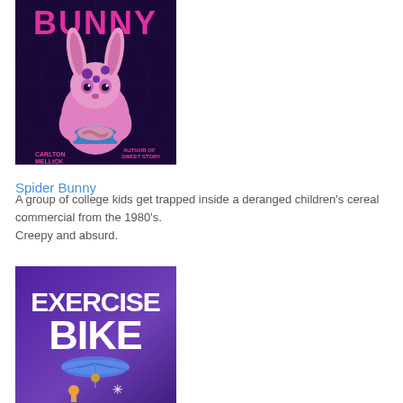[Figure (illustration): Book cover for 'Spider Bunny' by Carlton Mellick, Author of Sweet Story. Features a pink cartoon bunny with purple spots on a dark purple background with spider web patterns. The bunny holds a bowl and the title 'BUNNY' appears in large pink letters at the top.]
Spider Bunny
A group of college kids get trapped inside a deranged children’s cereal commercial from the 1980’s.
Creepy and absurd.
[Figure (illustration): Book cover for 'Exercise Bike'. Features large white bold text 'EXERCISE BIKE' on a purple background with a figure holding an umbrella and another character visible below.]